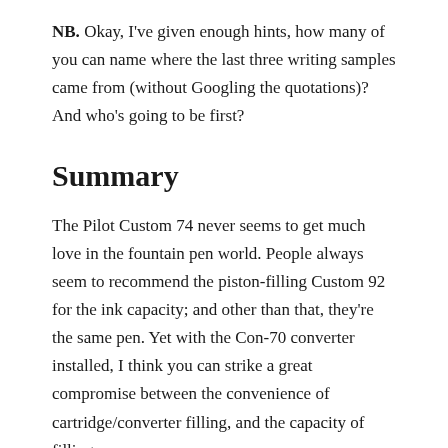NB. Okay, I've given enough hints, how many of you can name where the last three writing samples came from (without Googling the quotations)? And who's going to be first?
Summary
The Pilot Custom 74 never seems to get much love in the fountain pen world. People always seem to recommend the piston-filling Custom 92 for the ink capacity; and other than that, they're the same pen. Yet with the Con-70 converter installed, I think you can strike a great compromise between the convenience of cartridge/converter filling, and the capacity of filling an